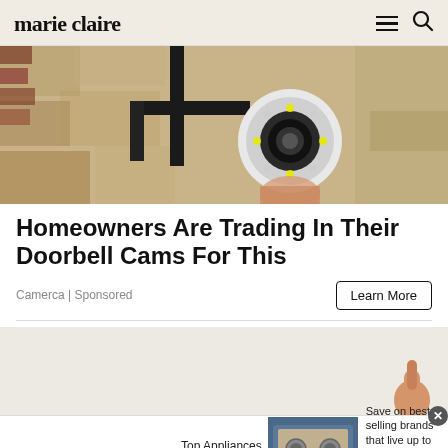marie claire
[Figure (photo): A white dome security camera mounted on a black metal bracket against a textured stone/brick wall]
Homeowners Are Trading In Their Doorbell Cams For This
Camerca | Sponsored
[Figure (photo): Wayfair advertisement banner showing a stainless steel range/oven with text: Top Appliances Low Prices. Save on best selling brands that live up to the hype. Shop now button.]